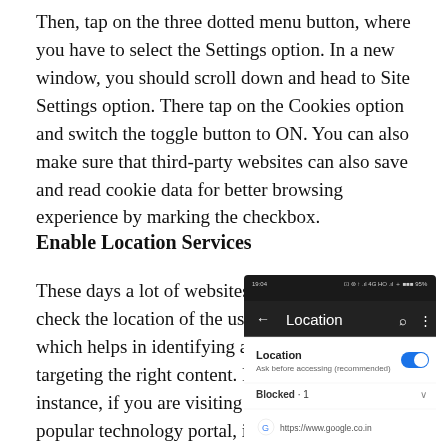Then, tap on the three dotted menu button, where you have to select the Settings option. In a new window, you should scroll down and head to Site Settings option. There tap on the Cookies option and switch the toggle button to ON. You can also make sure that third-party websites can also save and read cookie data for better browsing experience by marking the checkbox.
Enable Location Services
These days a lot of websites ask to check the location of the user, which helps in identifying and targeting the right content. For instance, if you are visiting a popular technology portal, it will ask for your location based on that website will fetch the localized
[Figure (screenshot): Android Chrome browser screenshot showing the Location settings page, with 'Location' toggle turned on (blue), 'Ask before accessing (recommended)' subtitle, a 'Blocked · 1' section with 'https://www.google.co.in' listed.]